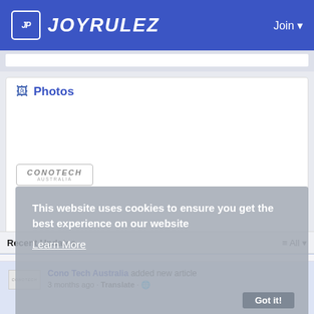JOYRULEZ — Join
Photos
[Figure (logo): CONOTECH AUSTRALIA logo inside a rounded rectangle border]
This website uses cookies to ensure you get the best experience on our website Learn More
Recent Updates — All
Cono Tech Australia added new article 3 months ago · Translate · 🌐